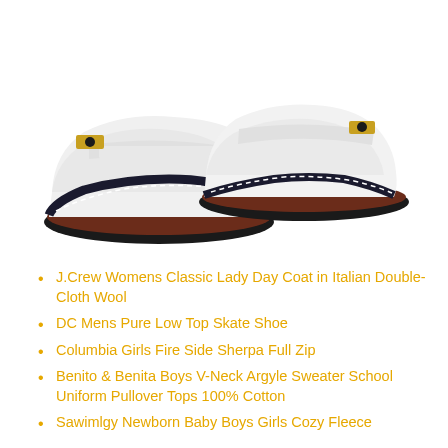[Figure (photo): Two white baby moccasin shoes with black stitching, dark navy/black trim, brown soles, and gold/yellow decorative elements on the toes. Photographed on white background.]
J.Crew Womens Classic Lady Day Coat in Italian Double-Cloth Wool
DC Mens Pure Low Top Skate Shoe
Columbia Girls Fire Side Sherpa Full Zip
Benito & Benita Boys V-Neck Argyle Sweater School Uniform Pullover Tops 100% Cotton
Sawimlgy Newborn Baby Boys Girls Cozy Fleece